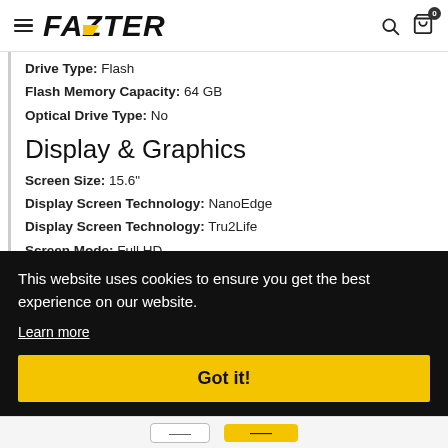FAZTER — navigation header with hamburger menu, logo, search icon, cart icon (0 items)
Drive Type: Flash
Flash Memory Capacity: 64 GB
Optical Drive Type: No
Display & Graphics
Screen Size: 15.6"
Display Screen Technology: NanoEdge
Display Screen Technology: Tru2Life
Screen Mode: Full HD
[Figure (screenshot): Cookie consent overlay on a e-commerce product page (Fazter). Dark/black background banner with white text: 'This website uses cookies to ensure you get the best experience on our website.' with a 'Learn more' underlined link and a yellow 'Got it!' button.]
This website uses cookies to ensure you get the best experience on our website.
Learn more
Got it!